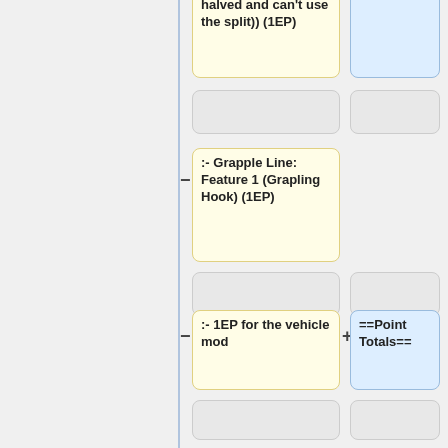halved and can't use the split)) (1EP)
:- Grapple Line: Feature 1 (Grapling Hook) (1EP)
:- 1EP for the vehicle mod
==Point Totals==
90PP Initial
2PP gained
'''Point Totals''' 90PP –
Attributes 24PP + Skills 9PP +